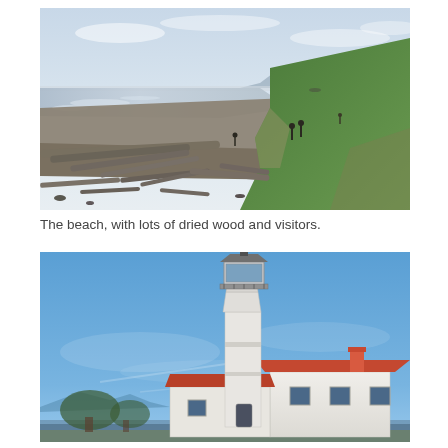[Figure (photo): A beach scene with driftwood logs scattered along the shoreline, green grassy dunes on the right, water and mountains visible in the background, a few visitors walking on the beach.]
The beach, with lots of dried wood and visitors.
[Figure (photo): A lighthouse with a white tower and lantern room, attached white building with a red-orange roof, set against a bright blue sky. Mountains faintly visible on the horizon to the left.]